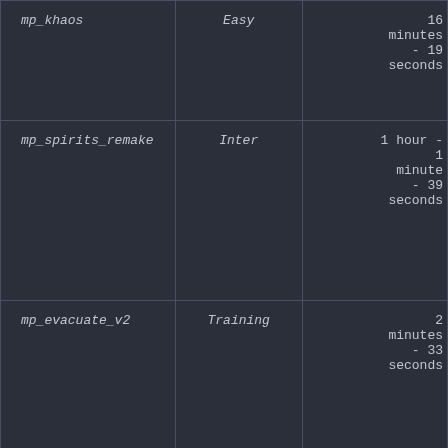| mp_khaos | Easy | 16 minutes - 19 seconds |
| mp_spirits_remake | Inter | 1 hour - 1 minute - 39 seconds |
| mp_evacuate_v2 | Training | 2 minutes - 33 seconds |
| mp_evacuate_v2 | Training | 2 |